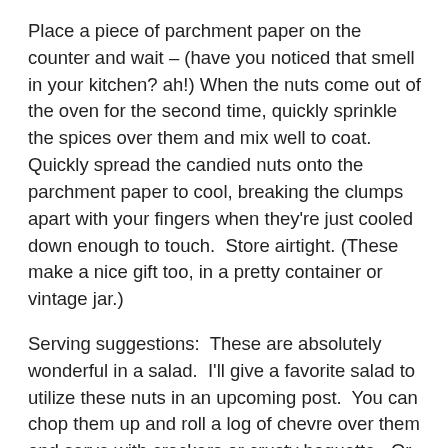Place a piece of parchment paper on the counter and wait – (have you noticed that smell in your kitchen? ah!) When the nuts come out of the oven for the second time, quickly sprinkle the spices over them and mix well to coat.  Quickly spread the candied nuts onto the parchment paper to cool, breaking the clumps apart with your fingers when they're just cooled down enough to touch.  Store airtight. (These make a nice gift too, in a pretty container or vintage jar.)
Serving suggestions:  These are absolutely wonderful in a salad.  I'll give a favorite salad to utilize these nuts in an upcoming post.  You can chop them up and roll a log of chevre over them and serve with crackers or crusty baguette.  Or chopped and scattered over green beans or yams or – .  And always as they are, straight from the jar,